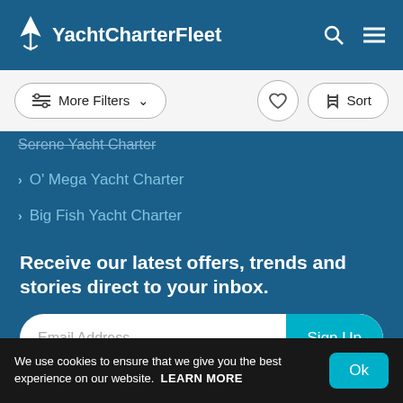YachtCharterFleet
More Filters   Sort
Serene Yacht Charter
O' Mega Yacht Charter
Big Fish Yacht Charter
Receive our latest offers, trends and stories direct to your inbox.
Email Address   Sign Up
We use cookies to ensure that we give you the best experience on our website. LEARN MORE   Ok